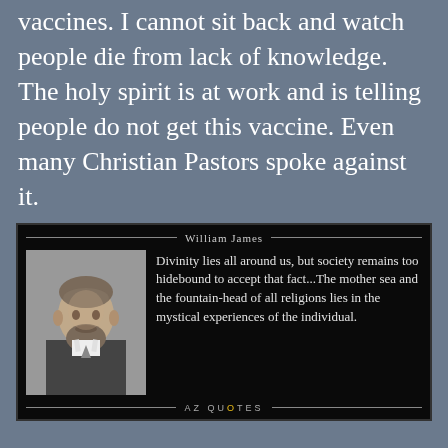vaccines. I cannot sit back and watch people die from lack of knowledge. The holy spirit is at work and is telling people do not get this vaccine. Even many Christian Pastors spoke against it.
[Figure (photo): A quote image card with a black background featuring William James. Left side shows a black-and-white portrait photo of William James (bearded man in 19th century attire). Right side shows the quote: 'Divinity lies all around us, but society remains too hidebound to accept that fact...The mother sea and the fountain-head of all religions lies in the mystical experiences of the individual.' Attribution line at top reads 'William James' and footer reads 'AZ QUOTES'.]
We should have a choice on what treatment an individual needs. Countless